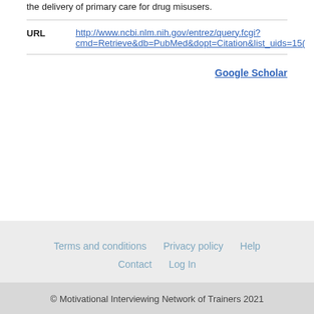the delivery of primary care for drug misusers.
URL http://www.ncbi.nlm.nih.gov/entrez/query.fcgi?cmd=Retrieve&db=PubMed&dopt=Citation&list_uids=15(truncated)
Google Scholar
Terms and conditions  Privacy policy  Help  Contact  Log In
© Motivational Interviewing Network of Trainers 2021